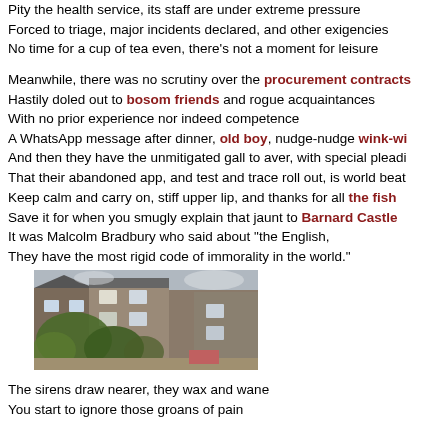Pity the health service, its staff are under extreme pressure
Forced to triage, major incidents declared, and other exigencies
No time for a cup of tea even, there's not a moment for leisure
Meanwhile, there was no scrutiny over the procurement contracts
Hastily doled out to bosom friends and rogue acquaintances
With no prior experience nor indeed competence
A WhatsApp message after dinner, old boy, nudge-nudge wink-wi...
And then they have the unmitigated gall to aver, with special pleadi...
That their abandoned app, and test and trace roll out, is world beat...
Keep calm and carry on, stiff upper lip, and thanks for all the fish
Save it for when you smugly explain that jaunt to Barnard Castle
It was Malcolm Bradbury who said about "the English,
They have the most rigid code of immorality in the world."
[Figure (photo): Photo of terraced brick buildings with rooftops, trees and foliage in the foreground, residential urban street scene.]
The sirens draw nearer, they wax and wane
You start to ignore those groans of pain